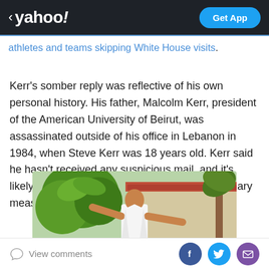< yahoo! | Get App
athletes and teams skipping White House visits.
Kerr's somber reply was reflective of his own personal history. His father, Malcolm Kerr, president of the American University of Beirut, was assassinated outside of his office in Lebanon in 1984, when Steve Kerr was 18 years old. Kerr said he hasn't received any suspicious mail, and it's likely NBA security has beefed up its precautionary measures in the meantime.
[Figure (photo): A man in a white shirt with gold chain necklace standing outdoors with tropical plants and a building in the background]
View comments | Facebook | Twitter | Email